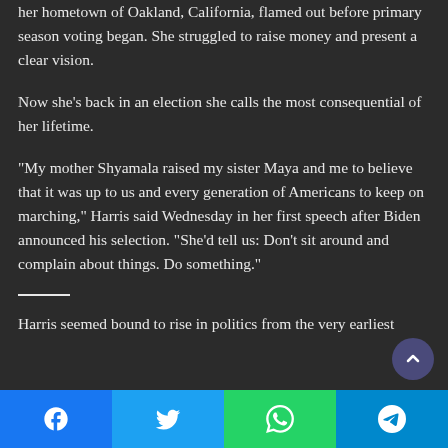her hometown of Oakland, California, flamed out before primary season voting began. She struggled to raise money and present a clear vision.
Now she's back in an election she calls the most consequential of her lifetime.
“My mother Shyamala raised my sister Maya and me to believe that it was up to us and every generation of Americans to keep on marching,” Harris said Wednesday in her first speech after Biden announced his selection. “She’d tell us: Don’t sit around and complain about things. Do something.”
Harris seemed bound to rise in politics from the very earliest